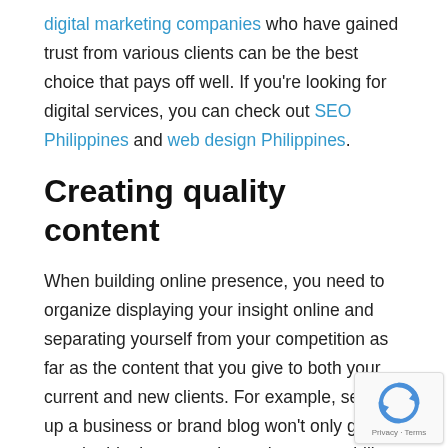digital marketing companies who have gained trust from various clients can be the best choice that pays off well. If you're looking for digital services, you can check out SEO Philippines and web design Philippines.
Creating quality content
When building online presence, you need to organize displaying your insight online and separating yourself from your competition as far as the content that you give to both your current and new clients. For example, setting up a business or brand blog won't only give you the ideal opportunity to show your ability online.  It also improves your online presence in a specific way, making more connections and pages on the web that are related to your image.
Using social media